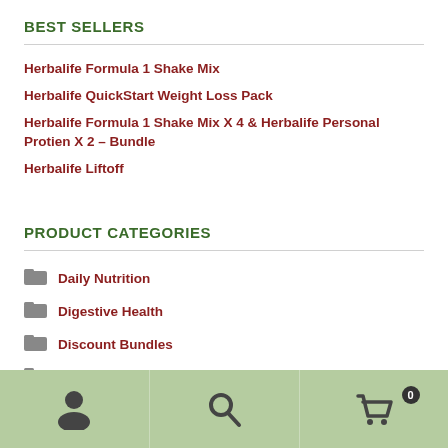BEST SELLERS
Herbalife Formula 1 Shake Mix
Herbalife QuickStart Weight Loss Pack
Herbalife Formula 1 Shake Mix X 4 & Herbalife Personal Protien X 2 – Bundle
Herbalife Liftoff
PRODUCT CATEGORIES
Daily Nutrition
Digestive Health
Discount Bundles
Healthy Energy Drinks
Heart Health